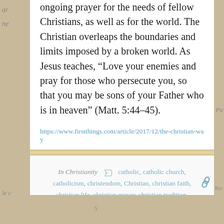ongoing prayer for the needs of fellow Christians, as well as for the world. The Christian overleaps the boundaries and limits imposed by a broken world. As Jesus teaches, “Love your enemies and pray for those who persecute you, so that you may be sons of your Father who is in heaven” (Matt. 5:44–45).
https://www.firstthings.com/article/2017/12/the-christian-way
In Christianity ▸ catholic, catholic church, catholicism, christendom, Christian, christian faith, christian life, christian prayer, christian tradition, Christian Views, christlikeness, Evangelicals and Catholics Together, first things, protestant, THE CHRISTIAN WAY